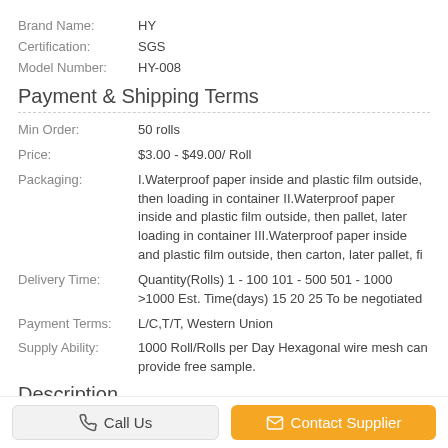Brand Name: HY
Certification: SGS
Model Number: HY-008
Payment & Shipping Terms
Min Order: 50 rolls
Price: $3.00 - $49.00/ Roll
Packaging: I.Waterproof paper inside and plastic film outside, then loading in container II.Waterproof paper inside and plastic film outside, then pallet, later loading in container III.Waterproof paper inside and plastic film outside, then carton, later pallet, fi
Delivery Time: Quantity(Rolls) 1 - 100 101 - 500 501 - 1000 >1000 Est. Time(days) 15 20 25 To be negotiated
Payment Terms: L/C,T/T, Western Union
Supply Ability: 1000 Roll/Rolls per Day Hexagonal wire mesh can provide free sample.
Description
Call Us
Contact Supplier